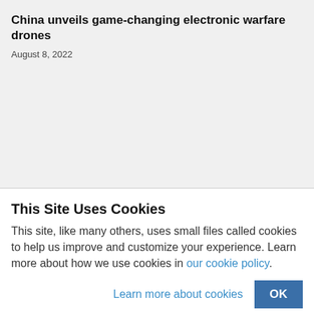China unveils game-changing electronic warfare drones
August 8, 2022
This Site Uses Cookies
This site, like many others, uses small files called cookies to help us improve and customize your experience. Learn more about how we use cookies in our cookie policy.
Learn more about cookies
OK